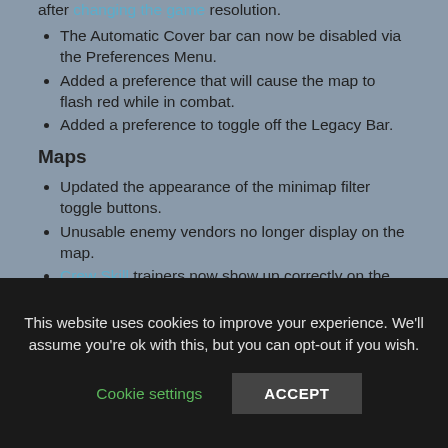after changing the game resolution.
The Automatic Cover bar can now be disabled via the Preferences Menu.
Added a preference that will cause the map to flash red while in combat.
Added a preference to toggle off the Legacy Bar.
Maps
Updated the appearance of the minimap filter toggle buttons.
Unusable enemy vendors no longer display on the map.
Crew Skill trainers now show up correctly on the map and minimap.
PvP
The UI no longer enters a bad state when it is
This website uses cookies to improve your experience. We'll assume you're ok with this, but you can opt-out if you wish.
Cookie settings
ACCEPT